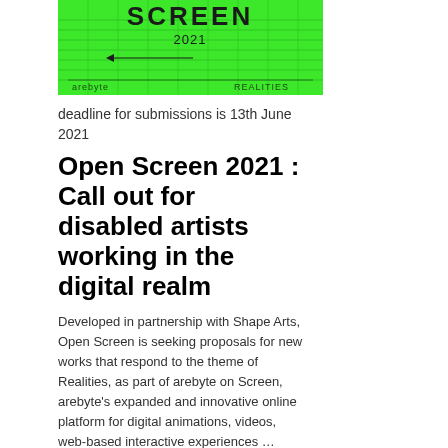[Figure (illustration): Green neon graphic with 'SCREEN 2021' text, horizontal lines creating a grid pattern, with 'arebyte' label on left and 'REALITIES' on right at bottom]
deadline for submissions is 13th June 2021
Open Screen 2021 : Call out for disabled artists working in the digital realm
Developed in partnership with Shape Arts, Open Screen is seeking proposals for new works that respond to the theme of Realities, as part of arebyte on Screen, arebyte's expanded and innovative online platform for digital animations, videos, web-based interactive experiences … Continue reading →
[Figure (photo): Prix Ars Electronica banner with logo, golden bird/sculpture on blue sky background]